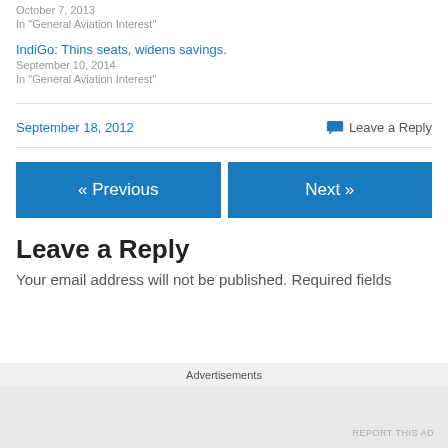October 7, 2013
In "General Aviation Interest"
IndiGo: Thins seats, widens savings.
September 10, 2014
In "General Aviation Interest"
September 18, 2012
Leave a Reply
« Previous
Next »
Leave a Reply
Your email address will not be published. Required fields
Advertisements
REPORT THIS AD